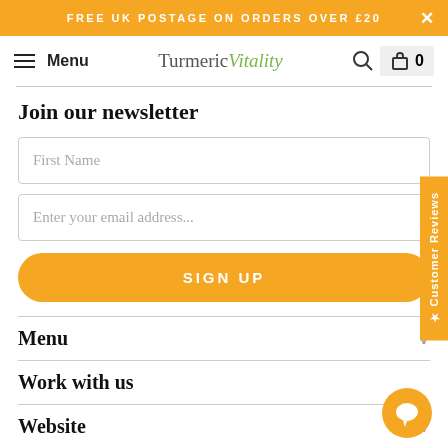FREE UK POSTAGE ON ORDERS OVER £20
Turmeric Vitality  Menu  0
Join our newsletter
First Name
Enter your email address...
SIGN UP
Menu
Work with us
Website
★ Customer Reviews